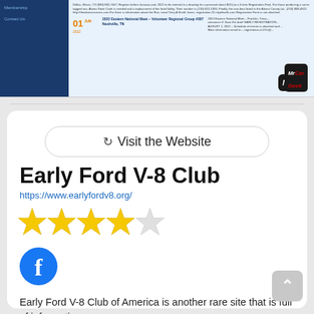[Figure (screenshot): Screenshot of Early Ford V-8 Club website calendar page showing a blue sidebar navigation, article text, and an event entry dated 01 Jun 2022 for 2022 Eastern National Meet – Volunteer Regional Group #307, Nashville, TN. MrCarGeek logo badge in lower right.]
Visit the Website
Early Ford V-8 Club
https://www.earlyfordv8.org/
[Figure (other): 4 out of 5 gold stars rating]
[Figure (logo): Facebook icon — blue circle with white letter f]
Early Ford V-8 Club of America is another rare site that is full of information.